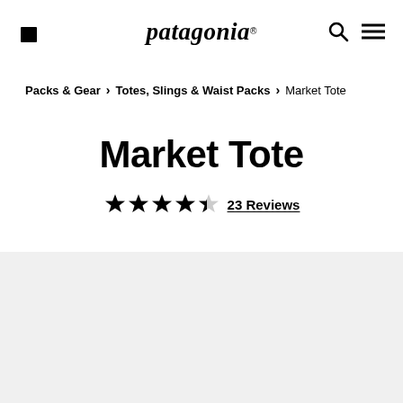patagonia
Packs & Gear > Totes, Slings & Waist Packs > Market Tote
Market Tote
★★★★½  23 Reviews